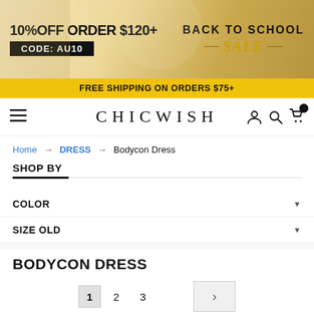[Figure (infographic): Promotional banner: 10% OFF ORDER $120+ with CODE: AU10 and BACK TO SCHOOL SALE text on gold/cream background]
FREE SHIPPING ON ORDERS $75+
CHICWISH — navigation bar with hamburger menu, brand logo, user icon, search icon, and cart icon
Home → DRESS → Bodycon Dress
SHOP BY
COLOR ▾
SIZE OLD ▾
BODYCON DRESS
1  2  3  >
SORT BY: Newest ∨ |